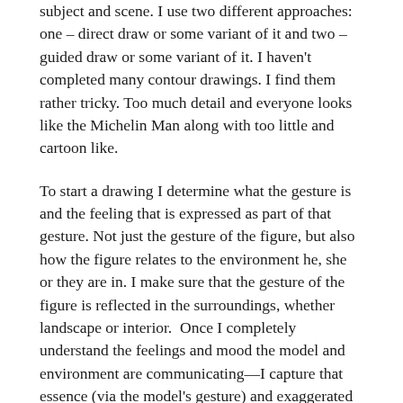subject and scene. I use two different approaches: one – direct draw or some variant of it and two – guided draw or some variant of it. I haven't completed many contour drawings. I find them rather tricky. Too much detail and everyone looks like the Michelin Man along with too little and cartoon like.
To start a drawing I determine what the gesture is and the feeling that is expressed as part of that gesture. Not just the gesture of the figure, but also how the figure relates to the environment he, she or they are in. I make sure that the gesture of the figure is reflected in the surroundings, whether landscape or interior.  Once I completely understand the feelings and mood the model and environment are communicating—I capture that essence (via the model's gesture) and exaggerated it. Mind you, I am setting a mood and not just drawing what I see in front of me. I'm drawing the feeling of the scene.